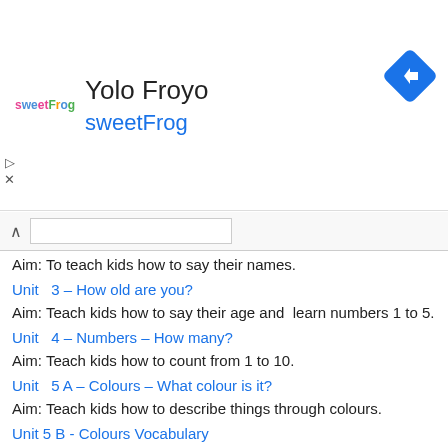[Figure (other): SweetFrog advertisement banner with logo, title 'Yolo Froyo', subtitle 'sweetFrog', navigation arrow icon, and ad controls]
Aim: To teach kids how to say their names.
Unit   3 – How old are you?
Aim: Teach kids how to say their age and  learn numbers 1 to 5.
Unit   4 – Numbers – How many?
Aim: Teach kids how to count from 1 to 10.
Unit   5 A – Colours – What colour is it?
Aim: Teach kids how to describe things through colours.
Unit 5 B - Colours Vocabulary
Aim: Teach colours vocabulary
Unit 5 C - Green Monster Colours Lesson